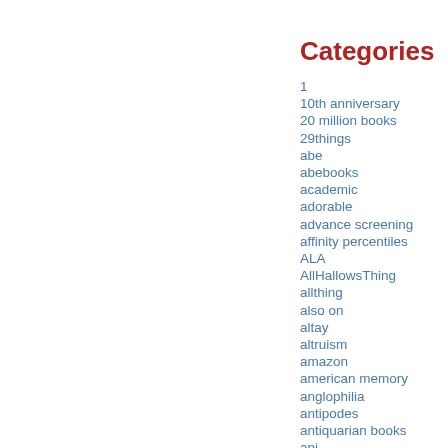Categories
1
10th anniversary
20 million books
29things
abe
abebooks
academic
adorable
advance screening
affinity percentiles
ALA
AllHallowsThing
allthing
also on
altay
altruism
amazon
american memory
anglophilia
antipodes
antiquarian books
api
apis
app
april fools
ARCs
AREs
arr